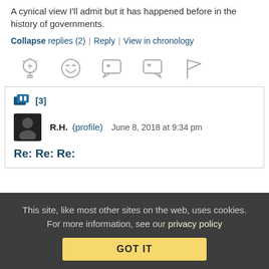A cynical view I'll admit but it has happened before in the history of governments.
Collapse replies (2) | Reply | View in chronology
[Figure (infographic): Row of 5 comment/reaction icons: lightbulb, laughing face, open quote bubble, close quote bubble, flag]
[3]
R.H. (profile)  June 8, 2018 at 9:34 pm
Re: Re: Re:
This site, like most other sites on the web, uses cookies. For more information, see our privacy policy
GOT IT